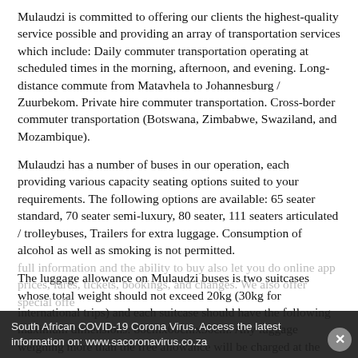Mulaudzi is committed to offering our clients the highest-quality service possible and providing an array of transportation services which include: Daily commuter transportation operating at scheduled times in the morning, afternoon, and evening. Long-distance commute from Matavhela to Johannesburg / Zuurbekom. Private hire commuter transportation. Cross-border commuter transportation (Botswana, Zimbabwe, Swaziland, and Mozambique).
Mulaudzi has a number of buses in our operation, each providing various capacity seating options suited to your requirements. The following options are available: 65 seater standard, 70 seater semi-luxury, 80 seater, 111 seaters articulated / trolleybuses, Trailers for extra luggage. Consumption of alcohol as well as smoking is not permitted.
The luggage allowance on Mulaudzi buses is two suitcases whose total weight should not exceed 20kg (30kg for international trips) and each suitcase should have the following maximum dimensions: 80cmx60cmx30cm. Any luggage weighing more than the free allowance will be charged at the applicable rate.
South African COVID-19 Corona Virus. Access the latest information on: www.sacoronavirus.co.za